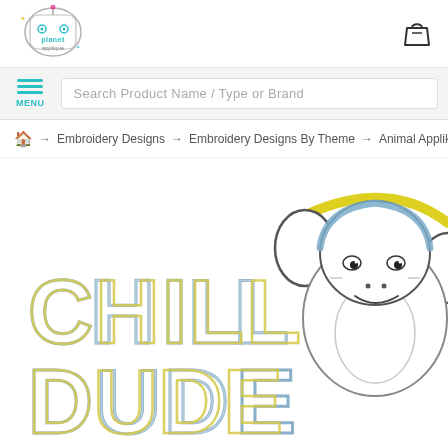[Figure (logo): Planet Applique logo - circular robot/alien character with teal and colorful accents, brand name inside]
[Figure (illustration): Shopping cart/bag icon in top right header]
Search Product Name / Type or Brand
MENU
🏠 → Embroidery Designs → Embroidery Designs By Theme → Animal Applik
[Figure (illustration): Embroidery applique design showing text 'CHILL DUDE' in outline block letters (blue and yellow) with a cute penguin/bird character wearing headphones, done in embroidery stitch style on white background]